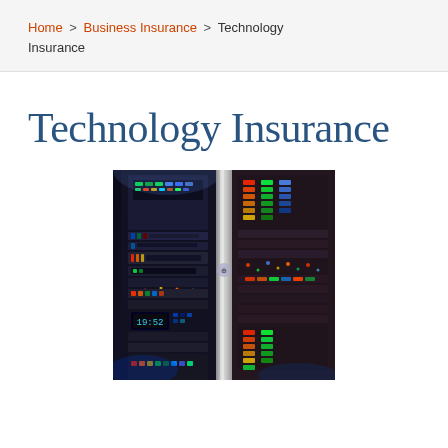Home > Business Insurance > Technology Insurance
Technology Insurance
[Figure (photo): Close-up photo of server rack equipment with colorful LED indicators, glowing panels showing status lights in red, green, yellow and blue. A digital display shows '19:52'. The rack has metallic silver trim and multiple control panels with illuminated buttons.]